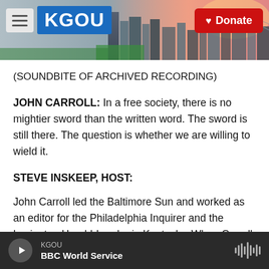[Figure (screenshot): KGOU radio station website header with logo, hamburger menu, city skyline background photo, and red Donate button]
(SOUNDBITE OF ARCHIVED RECORDING)
JOHN CARROLL: In a free society, there is no mightier sword than the written word. The sword is still there. The question is whether we are willing to wield it.
STEVE INSKEEP, HOST:
John Carroll led the Baltimore Sun and worked as an editor for the Philadelphia Inquirer and the Lexington Herald-Leader in Kentucky. When Carroll was editor of the Los Angeles Times, it was 13
KGOU  BBC World Service